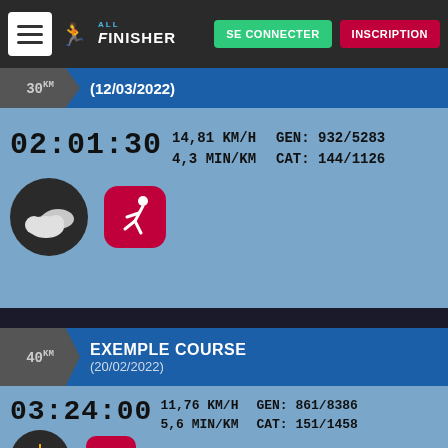SE CONNECTER | INSCRIPTION — AllFinisher navigation bar
30km (12/03/2022)
02:01:30 | 14,81 KM/H | 4,3 MIN/KM | GEN: 932/5283 | CAT: 144/1126
[Figure (screenshot): Weather icon (cloudy) and running app icon]
EXEMPLE COURSE (20/02/2022) 40km
03:24:00 | 11,76 KM/H | 5,6 MIN/KM | GEN: 861/8386 | CAT: 151/1458